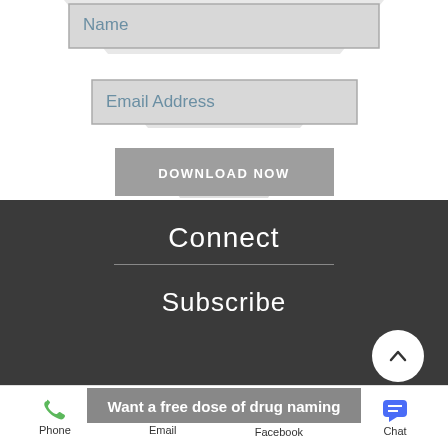[Figure (screenshot): Form with Name input field, Email Address input field, and DOWNLOAD NOW button arranged in a funnel/pyramid shape with light gray trapezoid decorations]
Connect
Subscribe
Want a free dose of drug naming
Phone
Email
Facebook
Chat